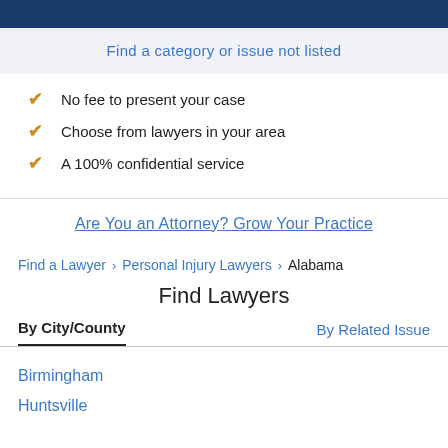Find a category or issue not listed
No fee to present your case
Choose from lawyers in your area
A 100% confidential service
Are You an Attorney? Grow Your Practice
Find a Lawyer > Personal Injury Lawyers > Alabama
Find Lawyers
By City/County | By Related Issue
Birmingham
Huntsville